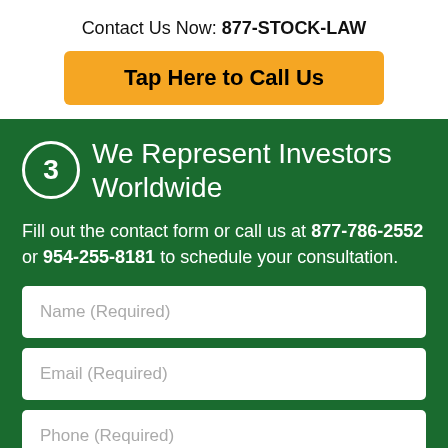Contact Us Now: 877-STOCK-LAW
Tap Here to Call Us
3 We Represent Investors Worldwide
Fill out the contact form or call us at 877-786-2552 or 954-255-8181 to schedule your consultation.
Name (Required)
Email (Required)
Phone (Required)